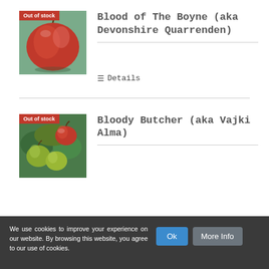[Figure (photo): Red apple product photo with 'Out of stock' red badge overlay, for Blood of The Boyne]
Blood of The Boyne (aka Devonshire Quarrenden)
Details
[Figure (photo): Apples on tree product photo with 'Out of stock' red badge overlay, for Bloody Butcher (aka Vajki Alma)]
Bloody Butcher (aka Vajki Alma)
We use cookies to improve your experience on our website. By browsing this website, you agree to our use of cookies.